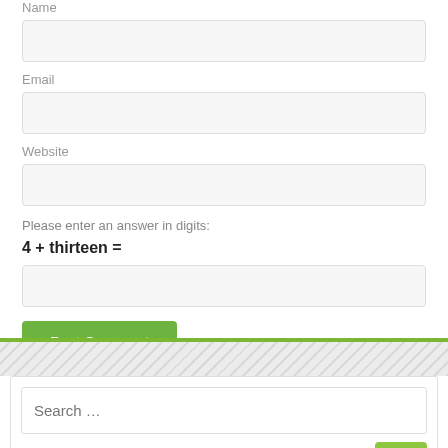Name
Email
Website
Please enter an answer in digits:
Post Comment
Search …
Search